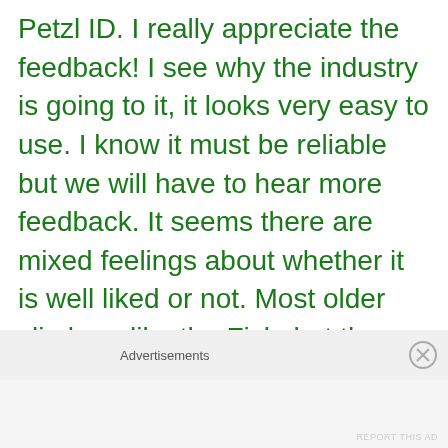Petzl ID. I really appreciate the feedback! I see why the industry is going to it, it looks very easy to use. I know it must be reliable but we will have to hear more feedback. It seems there are mixed feelings about whether it is well liked or not. Most older climbers like the Fisk, but the younger guys seem to think it's
Advertisements